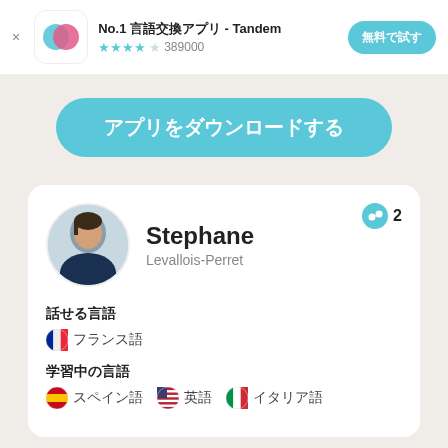[Figure (screenshot): App store ad banner for Tandem language exchange app with icon, star rating 389000 reviews, and free trial button]
アプリをダウンロードする
Stephane
Levallois-Perret
話せる言語
フランス語
学習中の言語
スペイン語　英語　イタリア語